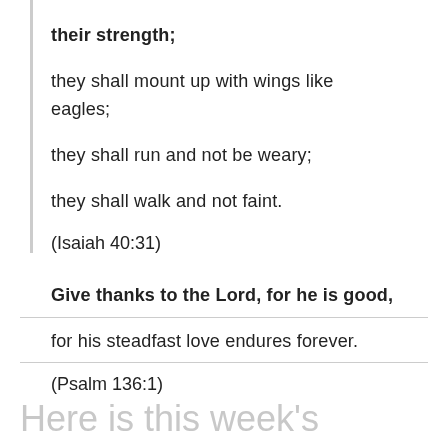their strength; they shall mount up with wings like eagles; they shall run and not be weary; they shall walk and not faint. (Isaiah 40:31)
Give thanks to the Lord, for he is good, for his steadfast love endures forever. (Psalm 136:1)
Here is this week's